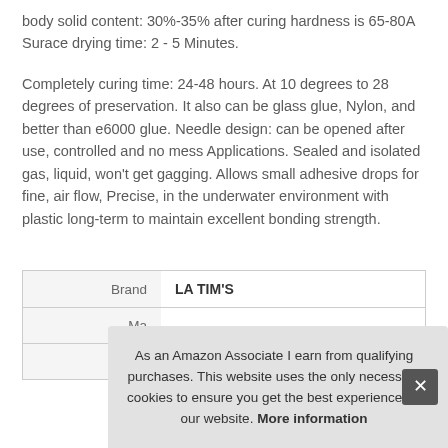body solid content: 30%-35% after curing hardness is 65-80A Surace drying time: 2 - 5 Minutes.
Completely curing time: 24-48 hours. At 10 degrees to 28 degrees of preservation. It also can be glass glue, Nylon, and better than e6000 glue. Needle design: can be opened after use, controlled and no mess Applications. Sealed and isolated gas, liquid, won't get gagging. Allows small adhesive drops for fine, air flow, Precise, in the underwater environment with plastic long-term to maintain excellent bonding strength.
|  |  |
| --- | --- |
| Brand | LA TIM'S |
| Ma |  |
| P |  |
As an Amazon Associate I earn from qualifying purchases. This website uses the only necessary cookies to ensure you get the best experience on our website. More information